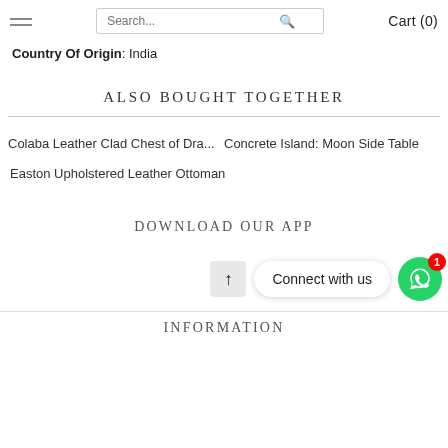Cart (0)
Country Of Origin: India
ALSO BOUGHT TOGETHER
Colaba Leather Clad Chest of Dra...
Concrete Island: Moon Side Table
Easton Upholstered Leather Ottoman
DOWNLOAD OUR APP
Connect with us
INFORMATION